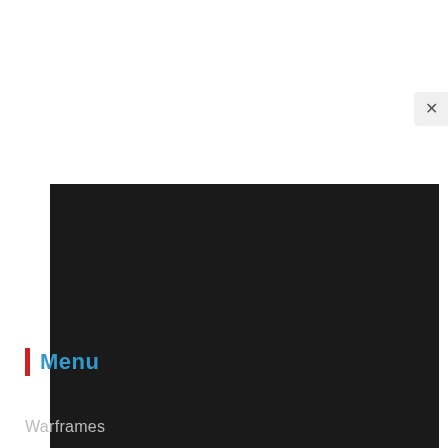[Figure (screenshot): Dark game UI panel (Warframe) with a close button (×) in the top right corner, a dark background panel occupying most of the lower portion of the page, a 'Menu' heading with a red vertical bar accent and blue text, and a 'Warframes' menu item below it.]
Menu
Warframes